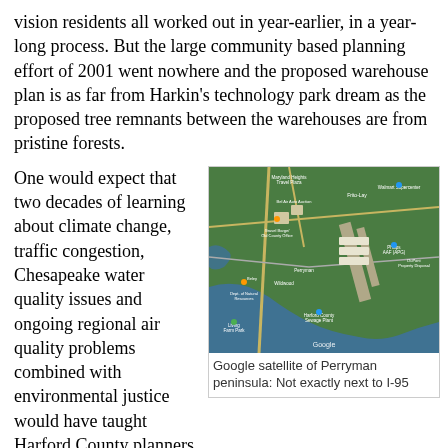vision residents all worked out in year-earlier, in a year-long process. But the large community based planning effort of 2001 went nowhere and the proposed warehouse plan is as far from Harkin's technology park dream as the proposed tree remnants between the warehouses are from pristine forests.
One would expect that two decades of learning about climate change, traffic congestion, Chesapeake water quality issues and ongoing regional air quality problems combined with environmental justice would have taught Harford County planners a lesson. In the year 2022 everyone knows with renewed urgency, how important it is to keep fertile soils form being sealed, how soil captures
[Figure (photo): Google satellite aerial view of Perryman peninsula showing roads, industrial buildings, Phillips AAF (APG) airfield, surrounding green fields and waterways. Various location labels visible including Frito-Lay, Walmart Supercenter, Bel Air Auto Auction, Philips AAF (APG), Harford County Sewage Plant, Living Farm Park, Wildwood, and others.]
Google satellite of Perryman peninsula: Not exactly next to I-95